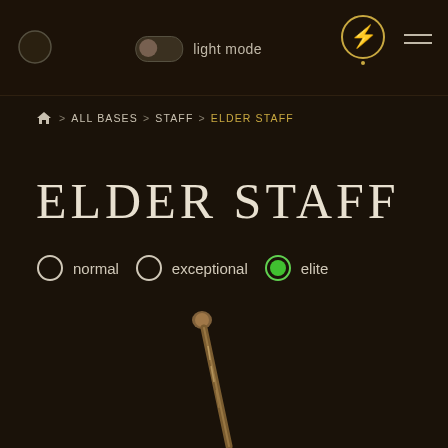light mode
Home > ALL BASES > STAFF > ELDER STAFF
ELDER STAFF
normal  exceptional  elite
[Figure (illustration): An Elder Staff weapon item — a brown wooden staff with a slightly bulbous top, shown diagonally on a dark background]